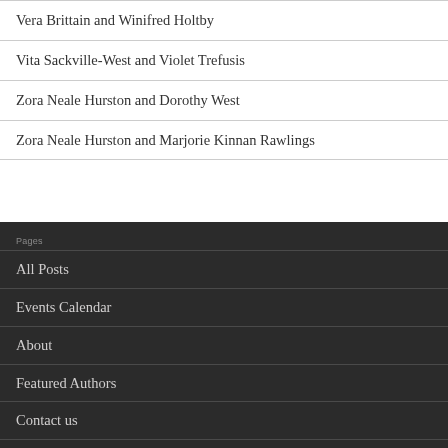Vera Brittain and Winifred Holtby
Vita Sackville-West and Violet Trefusis
Zora Neale Hurston and Dorothy West
Zora Neale Hurston and Marjorie Kinnan Rawlings
Pages
All Posts
Events Calendar
About
Featured Authors
Contact us